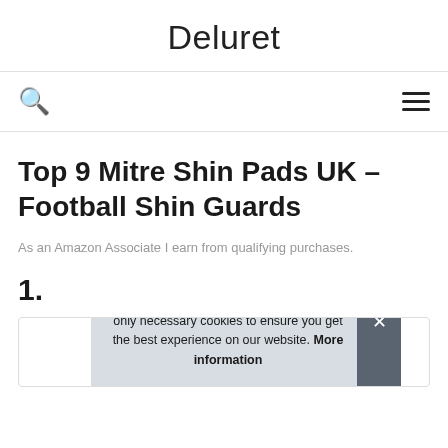Deluret
Top 9 Mitre Shin Pads UK – Football Shin Guards
As an Amazon Associate I earn from qualifying purchases.
1.
As an Amazon Associate I earn from qualifying purchases. This website uses the only necessary cookies to ensure you get the best experience on our website. More information